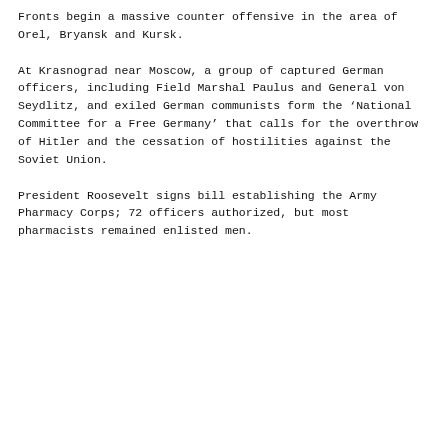Fronts begin a massive counter offensive in the area of Orel, Bryansk and Kursk.
At Krasnograd near Moscow, a group of captured German officers, including Field Marshal Paulus and General von Seydlitz, and exiled German communists form the ‘National Committee for a Free Germany’ that calls for the overthrow of Hitler and the cessation of hostilities against the Soviet Union.
President Roosevelt signs bill establishing the Army Pharmacy Corps; 72 officers authorized, but most pharmacists remained enlisted men.